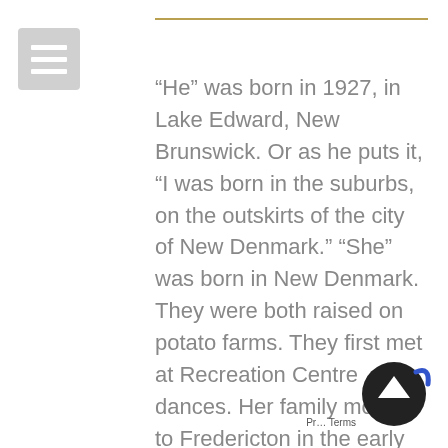“He” was born in 1927, in Lake Edward, New Brunswick. Or as he puts it, “I was born in the suburbs, on the outskirts of the city of New Denmark.” “She” was born in New Denmark. They were both raised on potato farms. They first met at Recreation Centre dances. Her family moved to Fredericton in the early 1950’s and he followed shortly thereafter. He was following his dream. She was his dream!